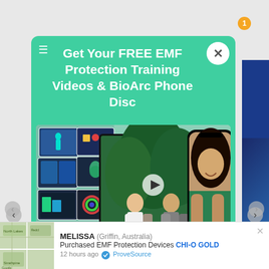Get Your FREE EMF Protection Training Videos & BioArc Phone Disc
[Figure (screenshot): Modal popup showing a video thumbnail with two men sitting outdoors and a phone held by a woman, with a collage of training video thumbnails on the left]
Sign up to receive instant access to your Free EMF Protection...
[Figure (screenshot): ProveSource social proof notification bar showing MELISSA (Griffin, Australia) Purchased EMF Protection Devices CHI-O GOLD 12 hours ago via ProveSource]